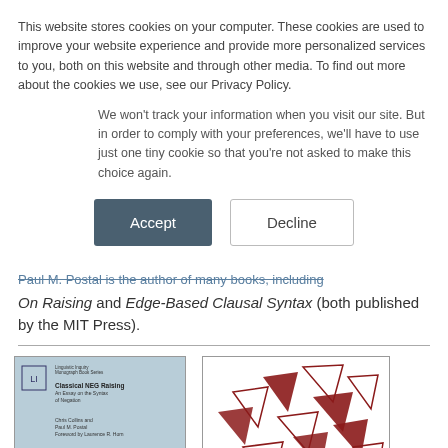This website stores cookies on your computer. These cookies are used to improve your website experience and provide more personalized services to you, both on this website and through other media. To find out more about the cookies we use, see our Privacy Policy.
We won't track your information when you visit our site. But in order to comply with your preferences, we'll have to use just one tiny cookie so that you're not asked to make this choice again.
Accept | Decline
Paul M. Postal is the author of many books, including On Raising and Edge-Based Clausal Syntax (both published by the MIT Press).
[Figure (photo): Two book covers side by side. Left: light blue cover for 'Classical NEG Raising: An Essay on the Syntax of Negation' by Chris Collins and Paul M. Postal, Foreword by Laurence R. Horn, Linguistic Inquiry Monograph Book Series, with a geometric watermark design. Right: white cover with dark red scattered triangle shapes forming an abstract pattern.]